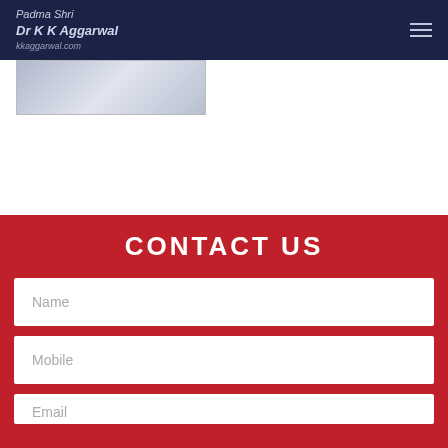Padma Shri Dr K K Aggarwal kkaggarwal.com
[Figure (screenshot): Partial image strip visible at top left below navbar]
CONTACT US
Name
Mobile
Email